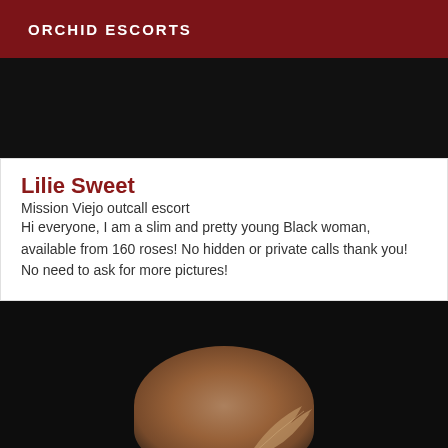ORCHID ESCORTS
[Figure (photo): Dark background image, top portion of a photo]
Lilie Sweet
Mission Viejo outcall escort
Hi everyone, I am a slim and pretty young Black woman, available from 160 roses! No hidden or private calls thank you! No need to ask for more pictures!
[Figure (photo): Dark photo showing partial view of a person with light-colored hair or feathered accessory against a very dark background]